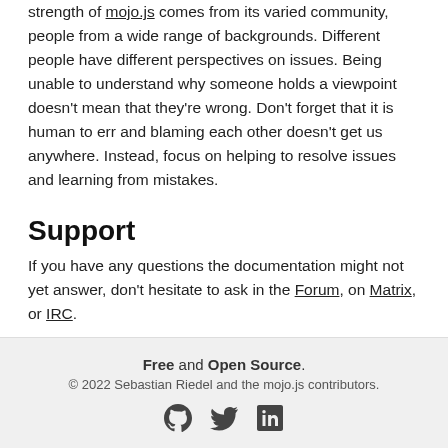strength of mojo.js comes from its varied community, people from a wide range of backgrounds. Different people have different perspectives on issues. Being unable to understand why someone holds a viewpoint doesn't mean that they're wrong. Don't forget that it is human to err and blaming each other doesn't get us anywhere. Instead, focus on helping to resolve issues and learning from mistakes.
Support
If you have any questions the documentation might not yet answer, don't hesitate to ask in the Forum, on Matrix, or IRC.
Free and Open Source. © 2022 Sebastian Riedel and the mojo.js contributors.